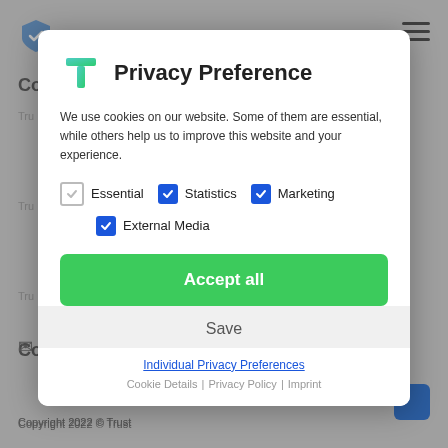[Figure (screenshot): Background website page with logo, navigation, and blurred content]
Privacy Preference
We use cookies on our website. Some of them are essential, while others help us to improve this website and your experience.
Essential (unchecked), Statistics (checked), Marketing (checked), External Media (checked)
Accept all
Save
Individual Privacy Preferences
Cookie Details | Privacy Policy | Imprint
Copyright 2022 © Trust